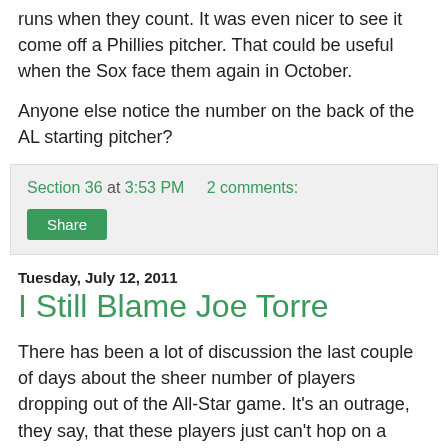runs when they count. It was even nicer to see it come off a Phillies pitcher. That could be useful when the Sox face them again in October.
Anyone else notice the number on the back of the AL starting pitcher?
Section 36 at 3:53 PM   2 comments:
Share
Tuesday, July 12, 2011
I Still Blame Joe Torre
There has been a lot of discussion the last couple of days about the sheer number of players dropping out of the All-Star game. It's an outrage, they say, that these players just can't hop on a plane and play in a game their fans want them to play in. I couldn't agree more. I'm very sorry if you're tired from chasing a career milestone. You're so overrated that people voted you to start the game. Show up, for crying out